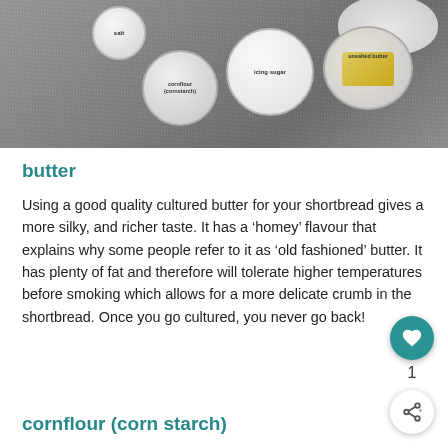[Figure (photo): Overhead photo of baking ingredients in white bowls on a grey concrete surface: salt (small bowl, top left), cornflour/cornstarch (medium bowl, center-left), icing sugar (large bowl, center), unsalted butter (rectangular piece in bowl, right), and a pile of flour (top right). Each bowl is labeled with text overlays.]
butter
Using a good quality cultured butter for your shortbread gives a more silky, and richer taste. It has a 'homey' flavour that explains why some people refer to it as 'old fashioned' butter. It has plenty of fat and therefore will tolerate higher temperatures before smoking which allows for a more delicate crumb in the shortbread. Once you go cultured, you never go back!
cornflour (corn starch)